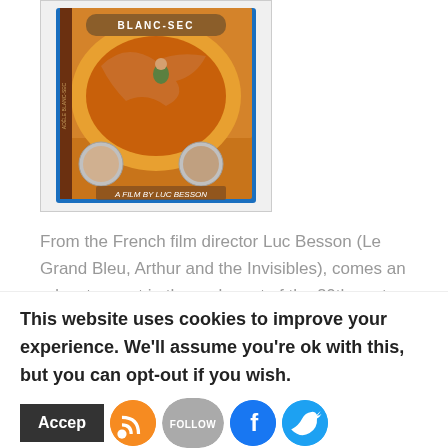[Figure (photo): DVD/Blu-ray box art for 'Adele Blanc-Sec', a film by Luc Besson. Shows a woman riding a pterodactyl over a desert landscape with two actor headshots at the bottom.]
From the French film director Luc Besson (Le Grand Bleu, Arthur and the Invisibles), comes an adventure set in the early part of the 20th century focused on a
This website uses cookies to improve your experience. We'll assume you're ok with this, but you can opt-out if you wish.
Accept